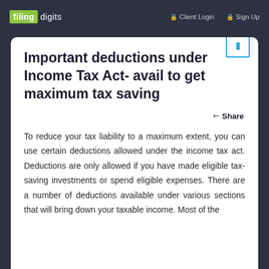filing digits | Client Login | Sign Up
Important deductions under Income Tax Act- avail to get maximum tax saving
Share
To reduce your tax liability to a maximum extent, you can use certain deductions allowed under the income tax act. Deductions are only allowed if you have made eligible tax-saving investments or spend eligible expenses. There are a number of deductions available under various sections that will bring down your taxable income. Most of the